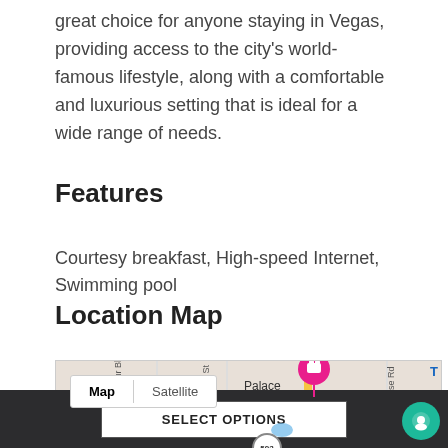great choice for anyone staying in Vegas, providing access to the city's world-famous lifestyle, along with a comfortable and luxurious setting that is ideal for a wide range of needs.
Features
Courtesy breakfast, High-speed Internet, Swimming pool
Location Map
[Figure (map): Google Maps view showing the Las Vegas Strip area with MGM Grand, Excalibur Hotel & Casino, and Palace marked as pins. Map/Satellite toggle visible. Roads including E Harmon Ave visible. Charlie Frias Park shown bottom left.]
SELECT OPTIONS